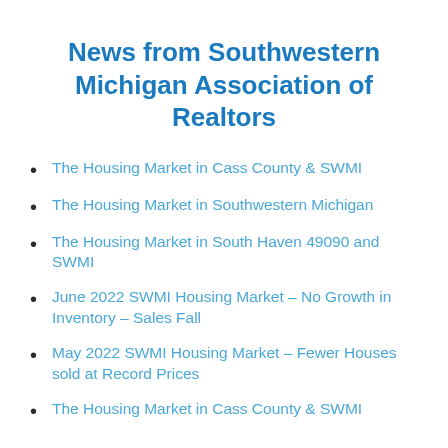News from Southwestern Michigan Association of Realtors
The Housing Market in Cass County & SWMI
The Housing Market in Southwestern Michigan
The Housing Market in South Haven 49090 and SWMI
June 2022 SWMI Housing Market – No Growth in Inventory – Sales Fall
May 2022 SWMI Housing Market – Fewer Houses sold at Record Prices
The Housing Market in Cass County & SWMI